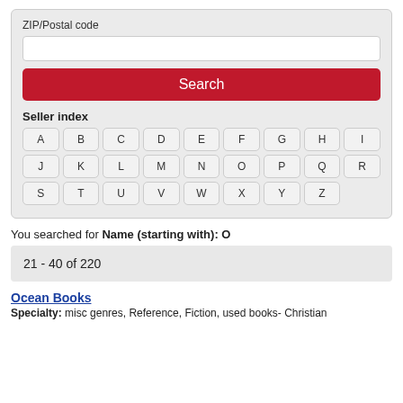ZIP/Postal code
Search
Seller index
A B C D E F G H I J K L M N O P Q R S T U V W X Y Z
You searched for Name (starting with): O
21 - 40 of 220
Ocean Books
Specialty: misc genres, Reference, Fiction, used books- Christian